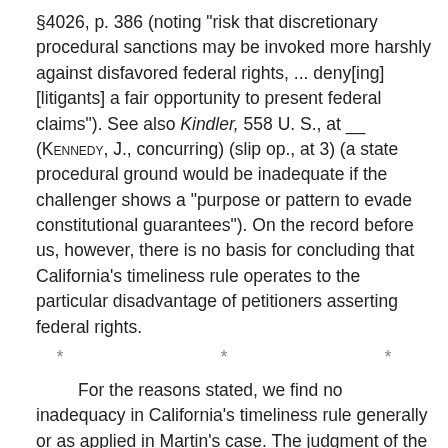§4026, p. 386 (noting "risk that discretionary procedural sanctions may be invoked more harshly against disfavored federal rights, ... deny[ing] [litigants] a fair opportunity to present federal claims"). See also Kindler, 558 U. S., at __ (KENNEDY, J., concurring) (slip op., at 3) (a state procedural ground would be inadequate if the challenger shows a "purpose or pattern to evade constitutional guarantees"). On the record before us, however, there is no basis for concluding that California's timeliness rule operates to the particular disadvantage of petitioners asserting federal rights.
* * *
For the reasons stated, we find no inadequacy in California's timeliness rule generally or as applied in Martin's case. The judgment of the United States Court of Appeals for the Ninth Circuit is therefore